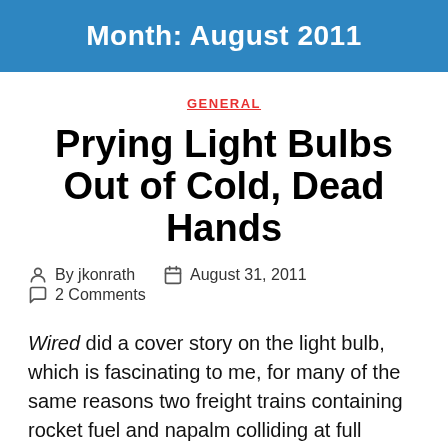Month: August 2011
GENERAL
Prying Light Bulbs Out of Cold, Dead Hands
By jkonrath   August 31, 2011   2 Comments
Wired did a cover story on the light bulb, which is fascinating to me, for many of the same reasons two freight trains containing rocket fuel and napalm colliding at full speed is fascinating to most people. Wired never has more than four god damned things a year even worth reading, unless you're always in the mood to buyer's